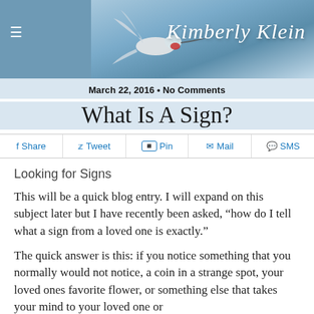[Figure (illustration): Kimberly Klein blog header with hummingbird and cursive script logo on blue-grey background]
March 22, 2016 • No Comments
What Is A Sign?
Share  Tweet  Pin  Mail  SMS
Looking for Signs
This will be a quick blog entry. I will expand on this subject later but I have recently been asked, “how do I tell what a sign from a loved one is exactly.”
The quick answer is this: if you notice something that you normally would not notice, a coin in a strange spot, your loved ones favorite flower, or something else that takes your mind to your loved one or